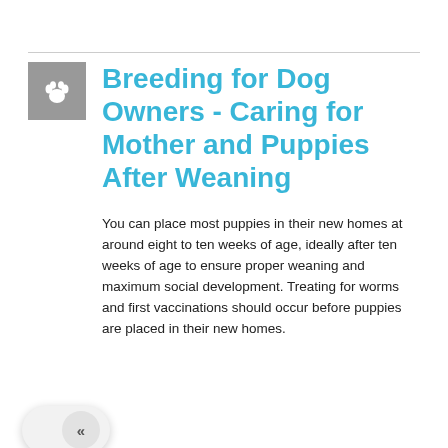Breeding for Dog Owners - Caring for Mother and Puppies After Weaning
You can place most puppies in their new homes at around eight to ten weeks of age, ideally after ten weeks of age to ensure proper weaning and maximum social development. Treating for worms and first vaccinations should occur before puppies are placed in their new homes.
Breeding for Dog